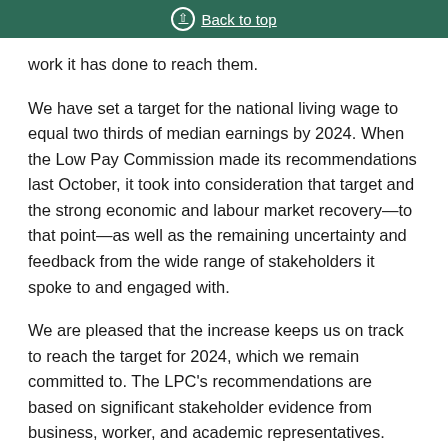Back to top
work it has done to reach them.
We have set a target for the national living wage to equal two thirds of median earnings by 2024. When the Low Pay Commission made its recommendations last October, it took into consideration that target and the strong economic and labour market recovery—to that point—as well as the remaining uncertainty and feedback from the wide range of stakeholders it spoke to and engaged with.
We are pleased that the increase keeps us on track to reach the target for 2024, which we remain committed to. The LPC's recommendations are based on significant stakeholder evidence from business, worker, and academic representatives.